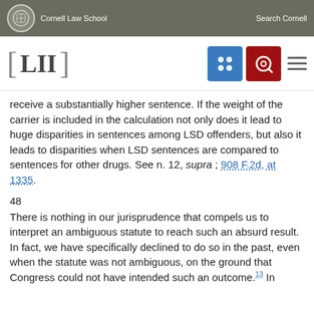Cornell Law School | Search Cornell
[LII]
receive a substantially higher sentence. If the weight of the carrier is included in the calculation not only does it lead to huge disparities in sentences among LSD offenders, but also it leads to disparities when LSD sentences are compared to sentences for other drugs. See n. 12, supra ; 908 F.2d, at 1335.
48
There is nothing in our jurisprudence that compels us to interpret an ambiguous statute to reach such an absurd result. In fact, we have specifically declined to do so in the past, even when the statute was not ambiguous, on the ground that Congress could not have intended such an outcome.13 In